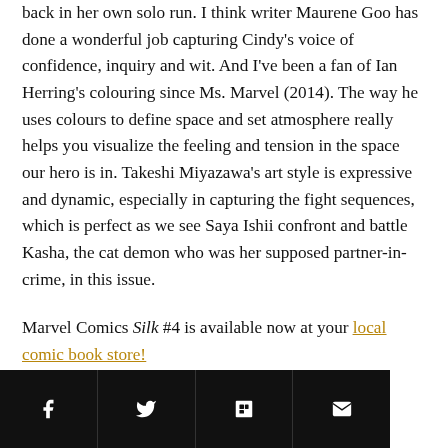back in her own solo run. I think writer Maurene Goo has done a wonderful job capturing Cindy's voice of confidence, inquiry and wit. And I've been a fan of Ian Herring's colouring since Ms. Marvel (2014). The way he uses colours to define space and set atmosphere really helps you visualize the feeling and tension in the space our hero is in. Takeshi Miyazawa's art style is expressive and dynamic, especially in capturing the fight sequences, which is perfect as we see Saya Ishii confront and battle Kasha, the cat demon who was her supposed partner-in-crime, in this issue.
Marvel Comics Silk #4 is available now at your local comic book store!
[Figure (other): Social sharing bar with Facebook, Twitter, Flipboard, and email icons on a black background]